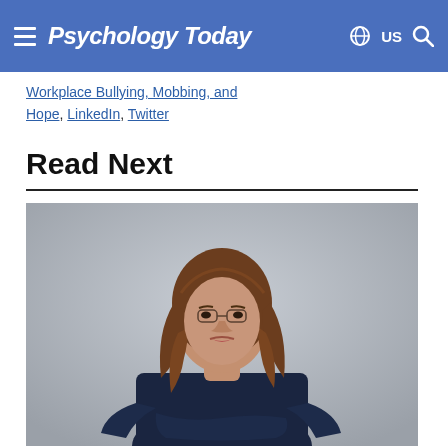Psychology Today — US
Workplace Bullying, Mobbing, and Hope, LinkedIn, Twitter
Read Next
[Figure (photo): A young woman with long brown hair wearing a dark navy blue long-sleeve top, standing with arms crossed, looking stern or unhappy, against a light grey background.]